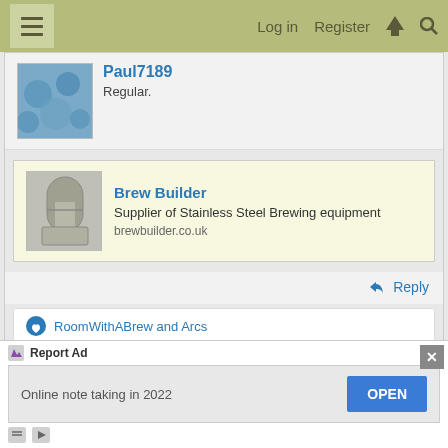Log in  Register
Paul7189
Regular.
[Figure (infographic): Ad for Brew Builder - Supplier of Stainless Steel Brewing equipment. brewbuilder.co.uk]
Reply
RoomWithABrew and Arcs
Jan 29, 2022  #15
Arcs
[Figure (infographic): Bottom ad banner: Online note taking in 2022 - OPEN button. Report Ad label with close X button.]